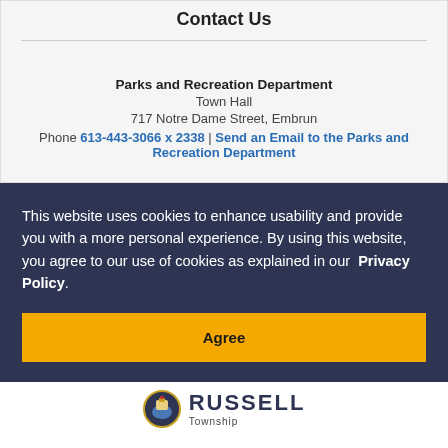Contact Us
Parks and Recreation Department
Town Hall
717 Notre Dame Street, Embrun
Phone 613-443-3066 x 2338 | Send an Email to the Parks and Recreation Department
This website uses cookies to enhance usability and provide you with a more personal experience. By using this website, you agree to our use of cookies as explained in our Privacy Policy.
Agree
[Figure (logo): Russell Township crest/logo with the text RUSSELL and Township below]